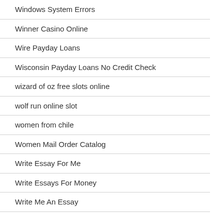Windows System Errors
Winner Casino Online
Wire Payday Loans
Wisconsin Payday Loans No Credit Check
wizard of oz free slots online
wolf run online slot
women from chile
Women Mail Order Catalog
Write Essay For Me
Write Essays For Money
Write Me An Essay